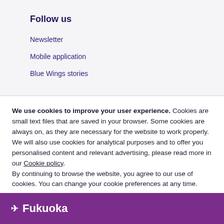Follow us
Newsletter
Mobile application
Blue Wings stories
We use cookies to improve your user experience. Cookies are small text files that are saved in your browser. Some cookies are always on, as they are necessary for the website to work properly. We will also use cookies for analytical purposes and to offer you personalised content and relevant advertising, please read more in our Cookie policy.
By continuing to browse the website, you agree to our use of cookies. You can change your cookie preferences at any time.
Close
✈ Fukuoka